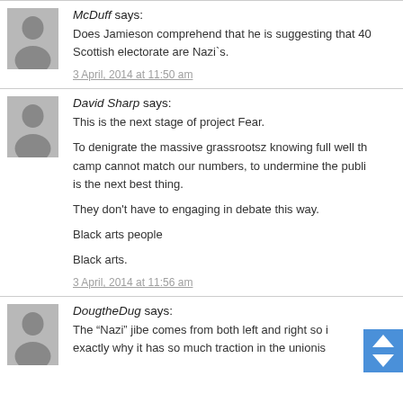McDuff says: Does Jamieson comprehend that he is suggesting that 40 Scottish electorate are Nazi`s. 3 April, 2014 at 11:50 am
David Sharp says: This is the next stage of project Fear. To denigrate the massive grassrootsz knowing full well that camp cannot match our numbers, to undermine the public is the next best thing. They don't have to engaging in debate this way. Black arts people Black arts. 3 April, 2014 at 11:56 am
DougtheDug says: The “Nazi” jibe comes from both left and right so i exactly why it has so much traction in the unionis